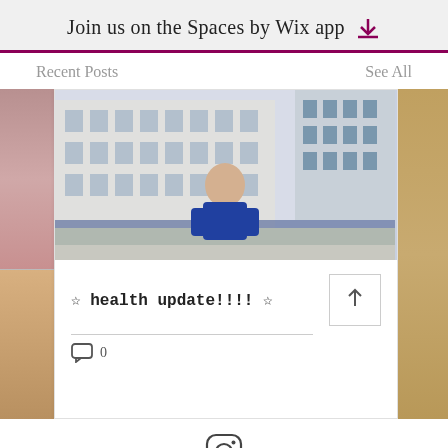Join us on the Spaces by Wix app
Recent Posts    See All
[Figure (photo): Screenshot of a Wix website showing a blog post card. The card features a photo of a smiling young woman in a blue sweatshirt standing in front of a large building. The post title reads '☆ health update!!!! ☆'. Below the title is a share button, a divider line, and a comment count showing 0. To the left and right are partial views of adjacent post cards.]
[Figure (logo): Instagram icon (camera outline) with the label 'Instagram' below it]